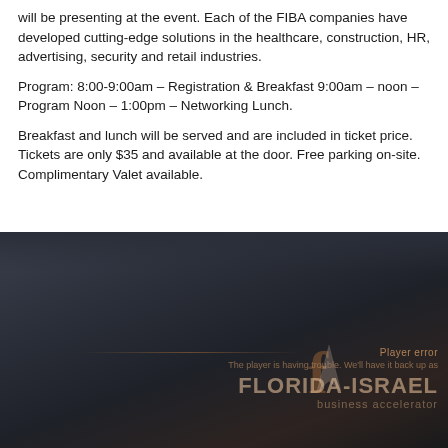will be presenting at the event. Each of the FIBA companies have developed cutting-edge solutions in the healthcare, construction, HR, advertising, security and retail industries.
Program: 8:00-9:00am – Registration & Breakfast 9:00am – noon – Program Noon – 1:00pm – Networking Lunch.
Breakfast and lunch will be served and are included in ticket price. Tickets are only $35 and available at the door. Free parking on-site. Complimentary Valet available.
[Figure (photo): Dark atmospheric photo with a video player error overlay. Background is a dark blurred scene. In the lower right area text reads 'Player error', 'The player is having trouble. We'll have it back up as', 'FLORIDA-ISRAEL', 'business accelerator' with a logo F and arrow symbol visible.]